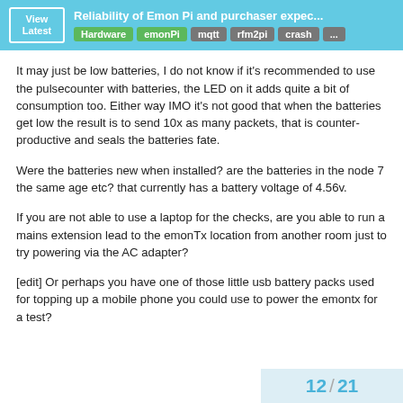Reliability of Emon Pi and purchaser expec... | Hardware | emonPi | mqtt | rfm2pi | crash | ...
It may just be low batteries, I do not know if it's recommended to use the pulsecounter with batteries, the LED on it adds quite a bit of consumption too. Either way IMO it's not good that when the batteries get low the result is to send 10x as many packets, that is counter-productive and seals the batteries fate.
Were the batteries new when installed? are the batteries in the node 7 the same age etc? that currently has a battery voltage of 4.56v.
If you are not able to use a laptop for the checks, are you able to run a mains extension lead to the emonTx location from another room just to try powering via the AC adapter?
[edit] Or perhaps you have one of those little usb battery packs used for topping up a mobile phone you could use to power the emontx for a test?
12 / 21